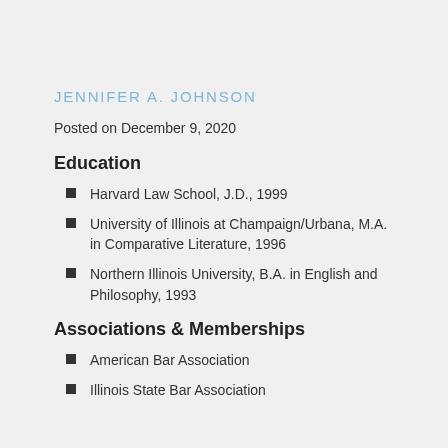JENNIFER A. JOHNSON
Posted on December 9, 2020
Education
Harvard Law School, J.D., 1999
University of Illinois at Champaign/Urbana, M.A. in Comparative Literature, 1996
Northern Illinois University, B.A. in English and Philosophy, 1993
Associations & Memberships
American Bar Association
Illinois State Bar Association